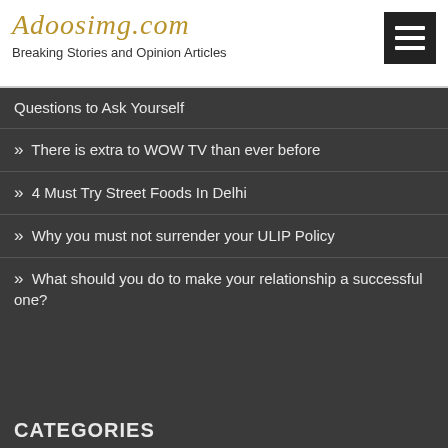Adoosimg.com — Breaking Stories and Opinion Articles
Questions to Ask Yourself
» There is extra to WOW TV than ever before
» 4 Must Try Street Foods In Delhi
» Why you must not surrender your ULIP Policy
» What should you do to make your relationship a successful one?
CATEGORIES